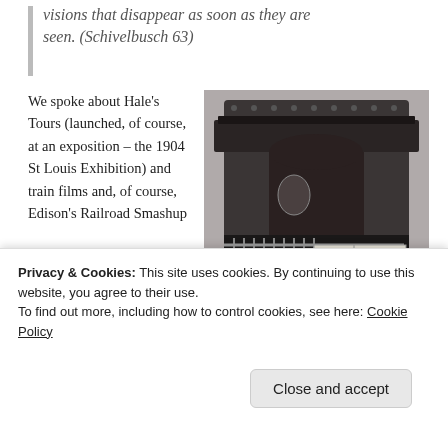visions that disappear as soon as they are seen. (Schivelbusch 63)
We spoke about Hale's Tours (launched, of course, at an exposition – the 1904 St Louis Exhibition) and train films and, of course, Edison's Railroad Smashup
[Figure (photo): Black and white historical photograph of a Hales Tours exhibit entrance, showing a train car facade with decorative ironwork railings, stairs, and a sign reading 'HALES TOURS']
Privacy & Cookies: This site uses cookies. By continuing to use this website, you agree to their use.
To find out more, including how to control cookies, see here: Cookie Policy